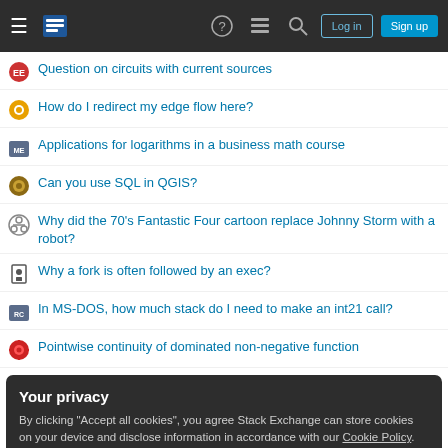Stack Exchange navigation bar with Log in and Sign up buttons
Question on circuits with current sources
How do I redirect my edge flow here?
Applications for logarithms in a business math course
Can you use SQL in QGIS?
Why did the 70's Fantastic Four cartoon replace Johnny Storm with a robot?
Why a fork is often followed by an exec?
In MS-DOS, how much stack do I need to make an int21 call?
Pointwise continuity of dominated non-negative function
Your privacy
By clicking "Accept all cookies", you agree Stack Exchange can store cookies on your device and disclose information in accordance with our Cookie Policy.
who reads them